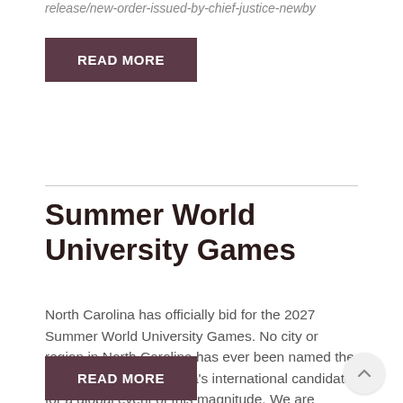release/new-order-issued-by-chief-justice-newby
READ MORE
Summer World University Games
North Carolina has officially bid for the 2027 Summer World University Games. No city or region in North Carolina has ever been named the United States of America's international candidate for a global event of this magnitude.  We are proud...
READ MORE